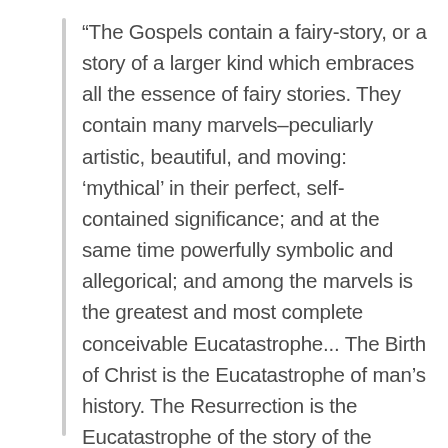“The Gospels contain a fairy-story, or a story of a larger kind which embraces all the essence of fairy stories. They contain many marvels–peculiarly artistic, beautiful, and moving: ‘mythical’ in their perfect, self-contained significance; and at the same time powerfully symbolic and allegorical; and among the marvels is the greatest and most complete conceivable Eucatastrophe... The Birth of Christ is the Eucatastrophe of man’s history. The Resurrection is the Eucatastrophe of the story of the incarnation. This story begins and ends in joy. There is no tale ever told that men would rather find was true, and none which so